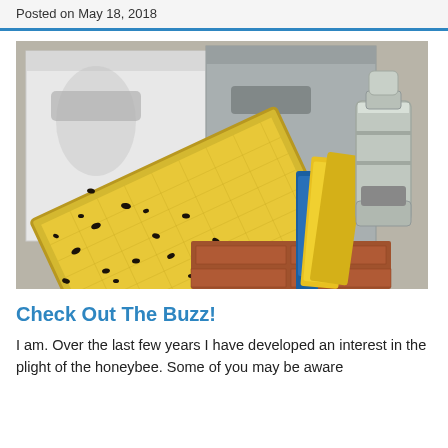Posted on May 18, 2018
[Figure (photo): Beehive frames covered with honeybees outdoors, with beekeeping tools including a blue and yellow hive tool and a metal smoker on bricks in the background]
Check Out The Buzz!
I am. Over the last few years I have developed an interest in the plight of the honeybee. Some of you may be aware